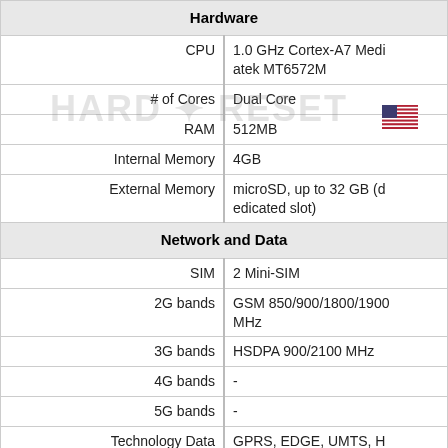| Property | Value |
| --- | --- |
| Hardware |  |
| CPU | 1.0 GHz Cortex-A7 Mediatek MT6572M |
| # of Cores | Dual Core |
| RAM | 512MB |
| Internal Memory | 4GB |
| External Memory | microSD, up to 32 GB (dedicated slot) |
| Network and Data |  |
| SIM | 2 Mini-SIM |
| 2G bands | GSM 850/900/1800/1900 MHz |
| 3G bands | HSDPA 900/2100 MHz |
| 4G bands | - |
| 5G bands | - |
| Technology Data | GPRS, EDGE, UMTS, HSDPA, HSUPA, HSPA+ |
| Display |  |
| Screen size | 3.2 in (~46.6% screen-to-body ratio) |
| Type | TFT LCD |